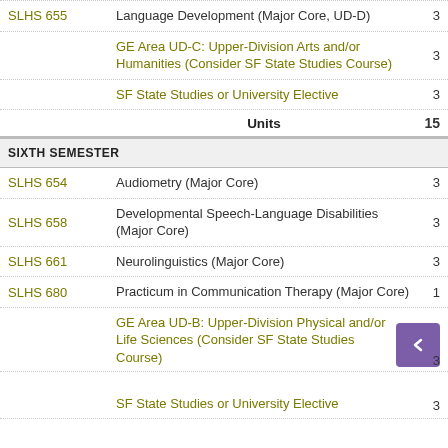| Course | Description | Units |
| --- | --- | --- |
| SLHS 655 | Language Development (Major Core, UD-D) | 3 |
|  | GE Area UD-C: Upper-Division Arts and/or Humanities (Consider SF State Studies Course) | 3 |
|  | SF State Studies or University Elective | 3 |
|  | Units | 15 |
| SIXTH SEMESTER |  |  |
| SLHS 654 | Audiometry (Major Core) | 3 |
| SLHS 658 | Developmental Speech-Language Disabilities (Major Core) | 3 |
| SLHS 661 | Neurolinguistics (Major Core) | 3 |
| SLHS 680 | Practicum in Communication Therapy (Major Core) | 1 |
|  | GE Area UD-B: Upper-Division Physical and/or Life Sciences (Consider SF State Studies Course) | 3 |
|  | SF State Studies or University Elective | 3 |